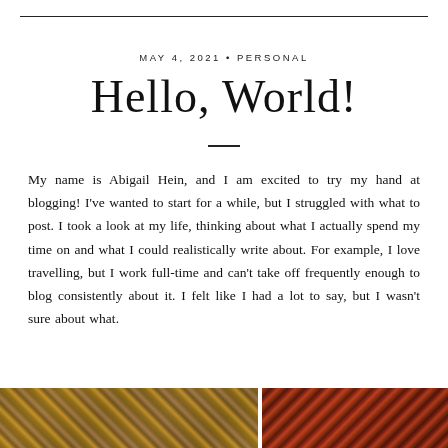MAY 4, 2021 • PERSONAL
Hello, World!
My name is Abigail Hein, and I am excited to try my hand at blogging! I've wanted to start for a while, but I struggled with what to post. I took a look at my life, thinking about what I actually spend my time on and what I could realistically write about. For example, I love travelling, but I work full-time and can't take off frequently enough to blog consistently about it. I felt like I had a lot to say, but I wasn't sure about what.
[Figure (photo): Two photos at bottom of page: left shows a textured patterned fabric or landscape in warm browns/golds, right shows a reddish-dark image partially visible]